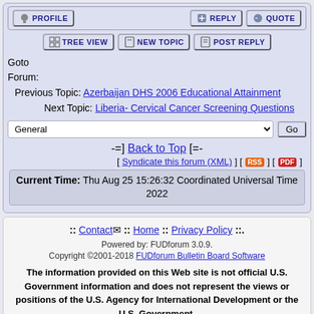profile | reply | quote
TREE VIEW | NEW TOPIC | POST REPLY
Goto Forum: Previous Topic: Azerbaijan DHS 2006 Educational Attainment
Next Topic: Liberia- Cervical Cancer Screening Questions
General [dropdown] Go
-=] Back to Top [=-
[ Syndicate this forum (XML) ] [ RSS ] [ PDF ]
Current Time: Thu Aug 25 15:26:32 Coordinated Universal Time 2022
:: Contact :: Home :: Privacy Policy ::
Powered by: FUDforum 3.0.9.
Copyright ©2001-2018 FUDforum Bulletin Board Software
The information provided on this Web site is not official U.S. Government information and does not represent the views or positions of the U.S. Agency for International Development or the U.S. Government.